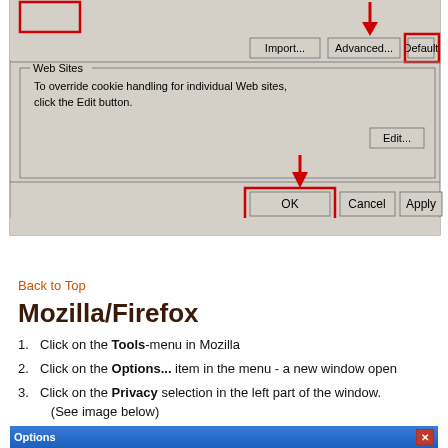[Figure (screenshot): Windows dialog showing Import, Advanced, Default buttons (Default highlighted with red box and red arrow), Web Sites section with Edit button, and OK/Cancel/Apply buttons at bottom (OK highlighted with red box and red arrow pointing to it).]
Back to Top
Mozilla/Firefox
Click on the Tools-menu in Mozilla
Click on the Options... item in the menu - a new window open
Click on the Privacy selection in the left part of the window. (See image below)
[Figure (screenshot): Bottom portion of Mozilla/Firefox Options dialog window title bar with blue gradient header showing 'Options' text and red X close button.]